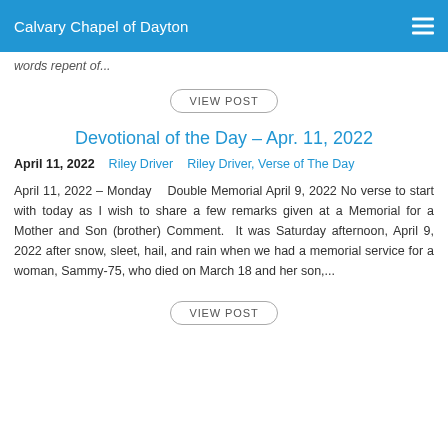Calvary Chapel of Dayton
words repent of...
VIEW POST
Devotional of the Day – Apr. 11, 2022
April 11, 2022   Riley Driver   Riley Driver, Verse of The Day
April 11, 2022 – Monday    Double Memorial April 9, 2022 No verse to start with today as I wish to share a few remarks given at a Memorial for a Mother and Son (brother) Comment.  It was Saturday afternoon, April 9, 2022 after snow, sleet, hail, and rain when we had a memorial service for a woman, Sammy-75, who died on March 18 and her son,...
VIEW POST